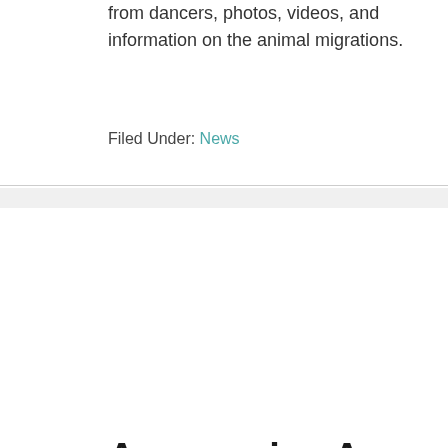from dancers, photos, videos, and information on the animal migrations.
Filed Under: News
Announcing A Field Guide to iLANDing
September 21, 2017 by admin — Leave a Comment
I am tremendously excited and proud to announce the publication of A Field Guide to iLANDing...